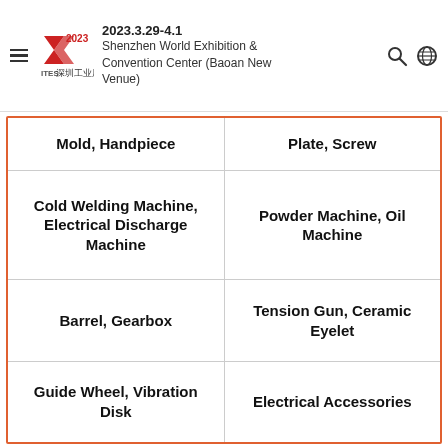2023.3.29-4.1 Shenzhen World Exhibition & Convention Center (Baoan New Venue)
| Mold, Handpiece | Plate, Screw |
| Cold Welding Machine, Electrical Discharge Machine | Powder Machine, Oil Machine |
| Barrel, Gearbox | Tension Gun, Ceramic Eyelet |
| Guide Wheel, Vibration Disk | Electrical Accessories |